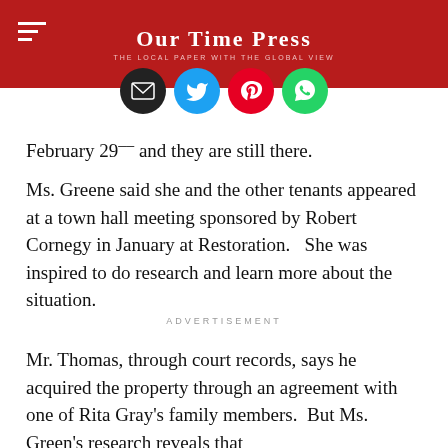Our Time Press — THE LOCAL PAPER WITH THE GLOBAL VIEW
[Figure (illustration): Four social sharing icons (email, Twitter, Pinterest, WhatsApp) displayed as colored circles]
February 29⁻⁻ and they are still there.
Ms. Greene said she and the other tenants appeared at a town hall meeting sponsored by Robert Cornegy in January at Restoration.   She was inspired to do research and learn more about the situation.
ADVERTISEMENT
Mr. Thomas, through court records, says he acquired the property through an agreement with one of Rita Gray's family members.  But Ms. Green's research reveals that